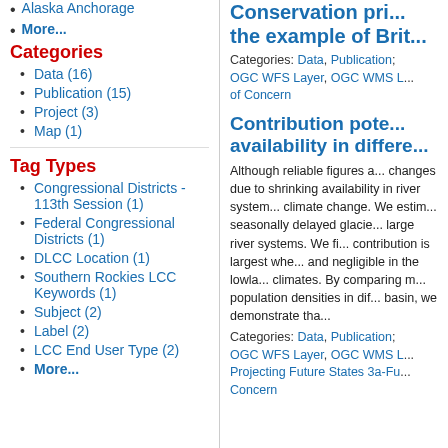Alaska Anchorage
More...
Categories
Data (16)
Publication (15)
Project (3)
Map (1)
Tag Types
Congressional Districts - 113th Session (1)
Federal Congressional Districts (1)
DLCC Location (1)
Southern Rockies LCC Keywords (1)
Subject (2)
Label (2)
LCC End User Type (2)
More...
Conservation pri... the example of Brit...
Categories: Data, Publication; OGC WFS Layer, OGC WMS L... of Concern
Contribution pote... availability in differe...
Although reliable figures a... changes due to shrinking availability in river system... climate change. We estim... seasonally delayed glacie... large river systems. We fi... contribution is largest whe... and negligible in the lowla... climates. By comparing m... population densities in dif... basin, we demonstrate tha...
Categories: Data, Publication; OGC WFS Layer, OGC WMS L... Projecting Future States 3a-Fu... Concern